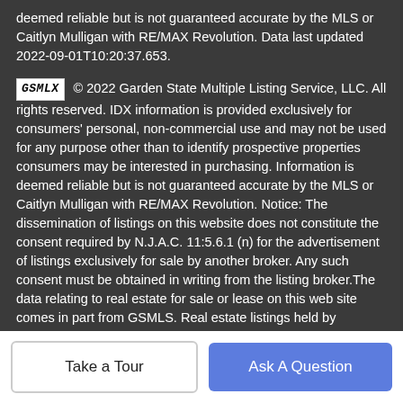deemed reliable but is not guaranteed accurate by the MLS or Caitlyn Mulligan with RE/MAX Revolution. Data last updated 2022-09-01T10:20:37.653.
GSMLX © 2022 Garden State Multiple Listing Service, LLC. All rights reserved. IDX information is provided exclusively for consumers' personal, non-commercial use and may not be used for any purpose other than to identify prospective properties consumers may be interested in purchasing. Information is deemed reliable but is not guaranteed accurate by the MLS or Caitlyn Mulligan with RE/MAX Revolution. Notice: The dissemination of listings on this website does not constitute the consent required by N.J.A.C. 11:5.6.1 (n) for the advertisement of listings exclusively for sale by another broker. Any such consent must be obtained in writing from the listing broker.The data relating to real estate for sale or lease on this web site comes in part from GSMLS. Real estate listings held by brokerage firms other than Caitlyn Mulligan with RE/MAX Revolution are marked with the
Take a Tour
Ask A Question